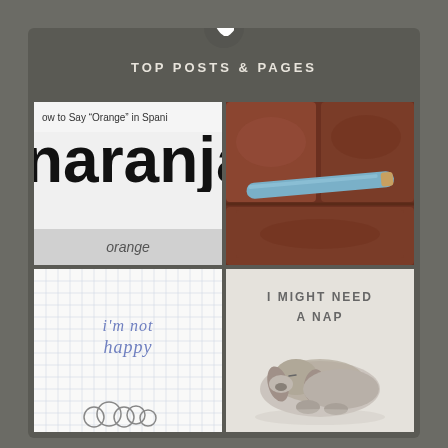TOP POSTS & PAGES
[Figure (screenshot): Post thumbnail showing 'How to Say Orange in Spanish' with the word 'naranja' in large bold text and 'orange' caption below]
[Figure (photo): Brown leather couch with a blue/teal cylindrical object (possibly a pencil or tube) resting on it]
[Figure (photo): Notebook paper with handwritten text 'i'm not happy' in blue ink with a sketch of clouds at the bottom]
[Figure (photo): Gray background with text 'I MIGHT NEED A NAP' and a sleeping dog below]